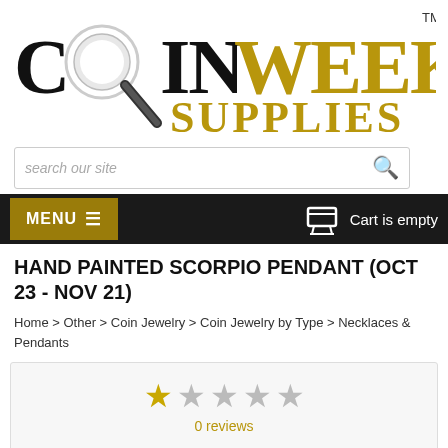[Figure (logo): CoinWeek Supplies logo with magnifying glass icon, COIN in black serif, WEEK in gold serif, SUPPLIES in gold serif below, TM superscript]
search our site
MENU  ≡    Cart is empty
HAND PAINTED SCORPIO PENDANT (OCT 23 - NOV 21)
Home > Other > Coin Jewelry > Coin Jewelry by Type > Necklaces & Pendants
0 reviews
SKU: 91757